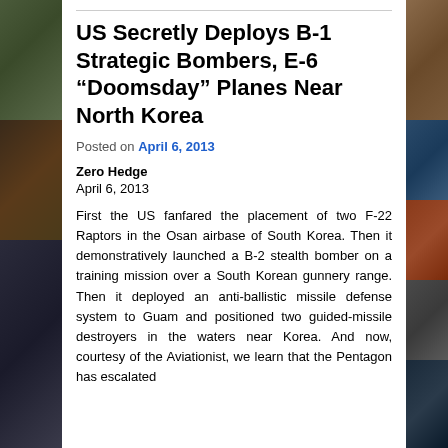US Secretly Deploys B-1 Strategic Bombers, E-6 “Doomsday” Planes Near North Korea
Posted on April 6, 2013
Zero Hedge
April 6, 2013
First the US fanfared the placement of two F-22 Raptors in the Osan airbase of South Korea. Then it demonstratively launched a B-2 stealth bomber on a training mission over a South Korean gunnery range. Then it deployed an anti-ballistic missile defense system to Guam and positioned two guided-missile destroyers in the waters near Korea. And now, courtesy of the Aviationist, we learn that the Pentagon has escalated